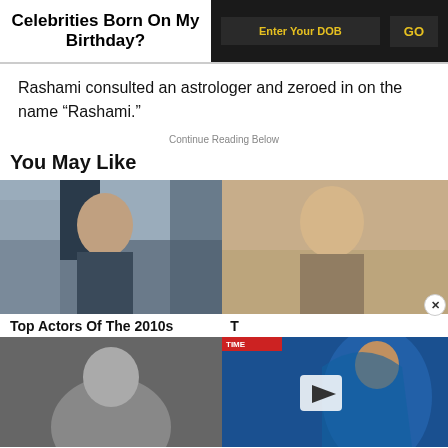Celebrities Born On My Birthday?
Rashami consulted an astrologer and zeroed in on the name “Rashami.”
Continue Reading Below
You May Like
[Figure (photo): Photo of a male actor outdoors, street background]
[Figure (photo): Photo of a male actor with blonde hair, city background]
Top Actors Of The 2010s
T...
[Figure (photo): Bottom left partial photo]
[Figure (screenshot): TIME branded video thumbnail showing a woman with curly hair, blue background, with play button overlay]